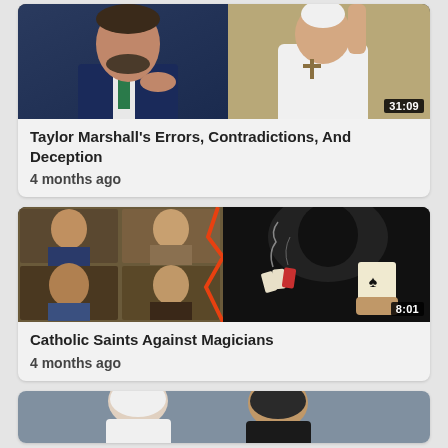[Figure (screenshot): Video thumbnail showing a man in a suit and Pope Francis, with duration 31:09]
Taylor Marshall's Errors, Contradictions, And Deception
4 months ago
[Figure (screenshot): Video thumbnail showing Catholic saints portraits on left and a hooded magician with playing cards on right, with duration 8:01]
Catholic Saints Against Magicians
4 months ago
[Figure (screenshot): Partial video thumbnail showing two people in religious attire, partially visible at bottom of page]